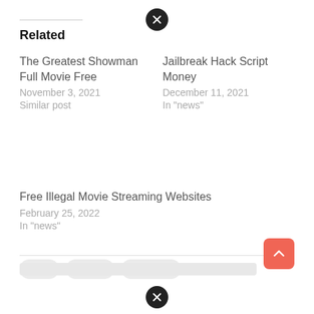[Figure (other): Close button (X) icon at top center]
Related
The Greatest Showman Full Movie Free
November 3, 2021
Similar post
Jailbreak Hack Script Money
December 11, 2021
In "news"
Free Illegal Movie Streaming Websites
February 25, 2022
In "news"
free   hacks   warzone
[Figure (other): Close button (X) icon at bottom center]